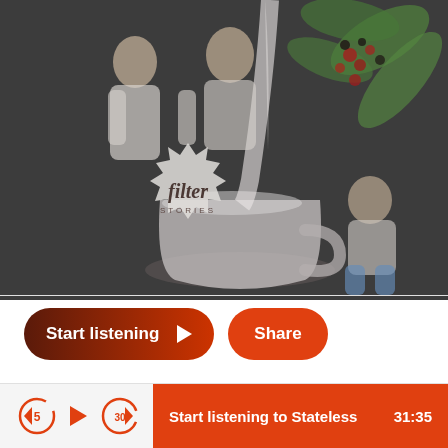[Figure (illustration): Podcast artwork for 'Filter Stories' showing illustrated figures of people, coffee plants with red berries, green tropical leaves, and a large white coffee cup being filled with pouring milk/cream. The illustration has a muted/darkened overlay. A badge/seal in the lower left reads 'filter STORIES' in italic serif lettering on a light starburst background.]
Start listening
Share
Start listening to Stateless   31:35